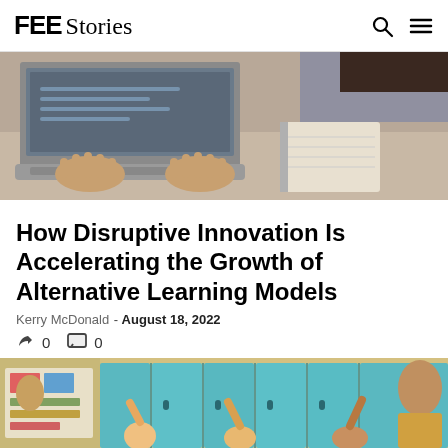FEE Stories
[Figure (photo): Person typing on laptop at a desk, viewed from above, hands on keyboard]
How Disruptive Innovation Is Accelerating the Growth of Alternative Learning Models
Kerry McDonald - August 18, 2022
0  0
[Figure (photo): Classroom scene with teacher and students with raised hands in front of teal/blue lockers]